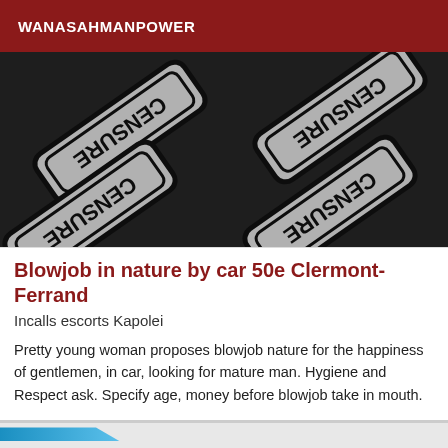WANASAHMANPOWER
[Figure (photo): Black and white photo of multiple censure/censorship signs arranged at diagonal angles, showing the word 'CENSURE' printed on rounded-rectangle shaped signs]
Blowjob in nature by car 50e Clermont-Ferrand
Incalls escorts Kapolei
Pretty young woman proposes blowjob nature for the happiness of gentlemen, in car, looking for mature man. Hygiene and Respect ask. Specify age, money before blowjob take in mouth.